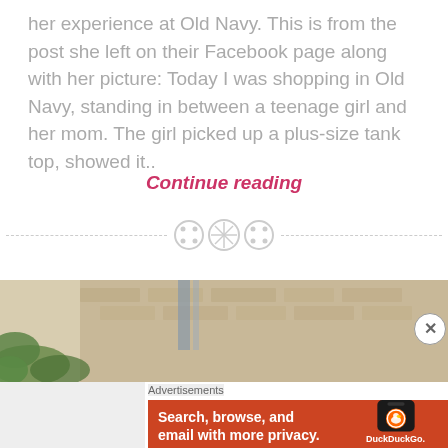her experience at Old Navy. This is from the post she left on their Facebook page along with her picture: Today I was shopping in Old Navy, standing in between a teenage girl and her mom. The girl picked up a plus-size tank top, showed it..
Continue reading
[Figure (other): Decorative divider with three button-like circular icons between dashed lines]
[Figure (photo): Photo showing a building exterior with brick wall and foliage/leaves on the left]
Advertisements
[Figure (other): DuckDuckGo advertisement banner on orange/red background with text 'Search, browse, and email with more privacy. All in One Free App' and a phone mockup showing DuckDuckGo logo]